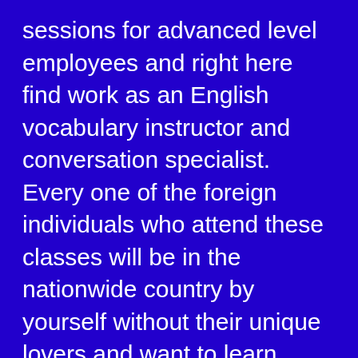sessions for advanced level employees and right here find work as an English vocabulary instructor and conversation specialist. Every one of the foreign individuals who attend these classes will be in the nationwide country by yourself without their unique lovers and want to learn supposed to be about the country.
Aside from locating a great https://datingmentor.org/nl/chatki-overzicht/ platonic glucose daddy, you'll learn his customs and tactics from his country. You need to but like work or they can see whether your aren't getting real. Taking him buying also to